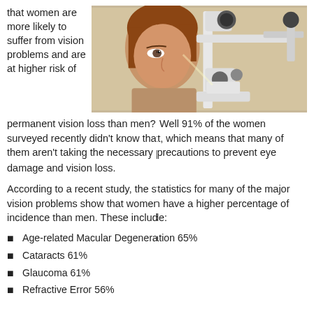that women are more likely to suffer from vision problems and are at higher risk of permanent vision loss than men? Well 91% of the women surveyed recently didn't know that, which means that many of them aren't taking the necessary precautions to prevent eye damage and vision loss.
[Figure (photo): A woman undergoing an eye examination at a slit lamp device in a clinical setting]
According to a recent study, the statistics for many of the major vision problems show that women have a higher percentage of incidence than men. These include:
Age-related Macular Degeneration 65%
Cataracts 61%
Glaucoma 61%
Refractive Error 56%